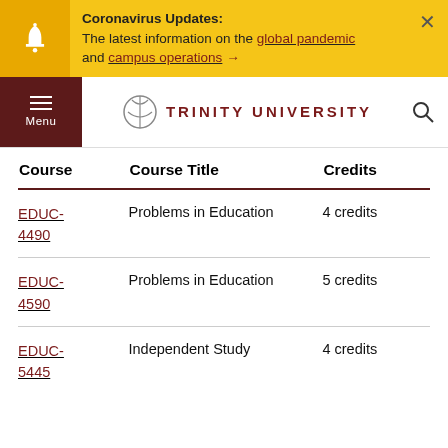Coronavirus Updates: The latest information on the global pandemic and campus operations →
[Figure (screenshot): Trinity University logo with circular icon and red text]
| Course | Course Title | Credits |
| --- | --- | --- |
| EDUC-4490 | Problems in Education | 4 credits |
| EDUC-4590 | Problems in Education | 5 credits |
| EDUC-5445 | Independent Study | 4 credits |